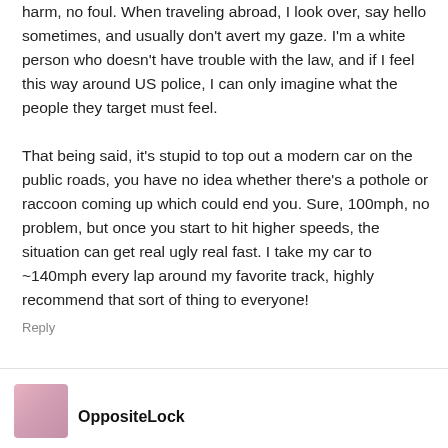harm, no foul. When traveling abroad, I look over, say hello sometimes, and usually don't avert my gaze. I'm a white person who doesn't have trouble with the law, and if I feel this way around US police, I can only imagine what the people they target must feel.

That being said, it's stupid to top out a modern car on the public roads, you have no idea whether there's a pothole or raccoon coming up which could end you. Sure, 100mph, no problem, but once you start to hit higher speeds, the situation can get real ugly real fast. I take my car to ~140mph every lap around my favorite track, highly recommend that sort of thing to everyone!
Reply
OppositeLock